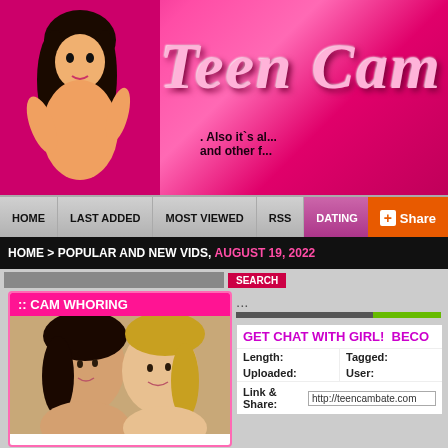[Figure (illustration): Pink banner with illustrated cartoon figure of woman and 'Teen Cam' stylized text logo with subtitle text about also being available and other features]
HOME | LAST ADDED | MOST VIEWED | RSS | DATING | Share
HOME > POPULAR AND NEW VIDS, AUGUST 19, 2022
:: CAM WHORING
[Figure (photo): Two young women posing closely together]
...
GET CHAT WITH GIRL!  BECO
Length:
Uploaded:
Link & Share: http://teencambate.com
Tagged:
User: